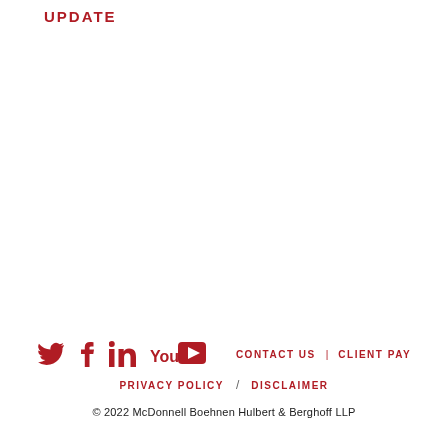UPDATE
Twitter | Facebook | LinkedIn | YouTube | CONTACT US | CLIENT PAY | PRIVACY POLICY / DISCLAIMER | © 2022 McDonnell Boehnen Hulbert & Berghoff LLP